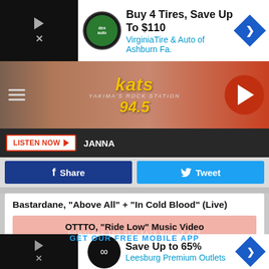[Figure (screenshot): Advertisement banner: Buy 4 Tires, Save Up To $110 - VirginiaTire & Auto of Ashburn Fa. with green logo circle and blue diamond arrow.]
[Figure (logo): KATS 94.5 radio station header logo with hamburger menu and play button.]
LISTEN NOW ▶  JANNA
f  Share
Tweet
Bastardane, "Above All" + "In Cold Blood" (Live)
OTTTO, "Ride Low" Music Video
GET OUR FREE MOBILE APP
THE 'BIG 4' OF 17 METAL SUBGENRES
Everyone knows about the Big 4 of Thrash Metal. But what about...some b
[Figure (screenshot): Advertisement: Save Up to 65% - Leesburg Premium Outlets with infinity logo and blue diamond arrow.]